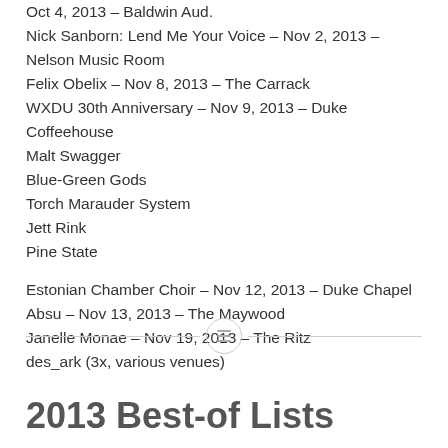Oct 4, 2013 – Baldwin Aud.
Nick Sanborn: Lend Me Your Voice – Nov 2, 2013 – Nelson Music Room
Felix Obelix – Nov 8, 2013 – The Carrack
WXDU 30th Anniversary – Nov 9, 2013 – Duke Coffeehouse
Malt Swagger
Blue-Green Gods
Torch Marauder System
Jett Rink
Pine State
Estonian Chamber Choir – Nov 12, 2013 – Duke Chapel
Absu – Nov 13, 2013 – The Maywood
Janelle Monae – Nov 19, 2013 – The Ritz
des_ark (3x, various venues)
2013 Best-of Lists